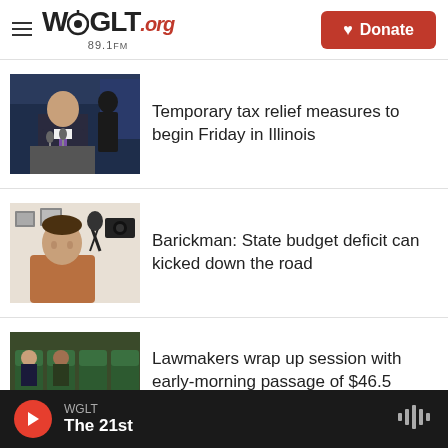WGLT.org 89.1FM
[Figure (photo): Governor at podium with microphones and US flag in background]
Temporary tax relief measures to begin Friday in Illinois
[Figure (photo): Man with brown sweater smiling in front of microphone in radio studio]
Barickman: State budget deficit can kicked down the road
[Figure (photo): Legislative chamber with green chairs and people seated]
Lawmakers wrap up session with early-morning passage of $46.5 billion budget
WGLT The 21st